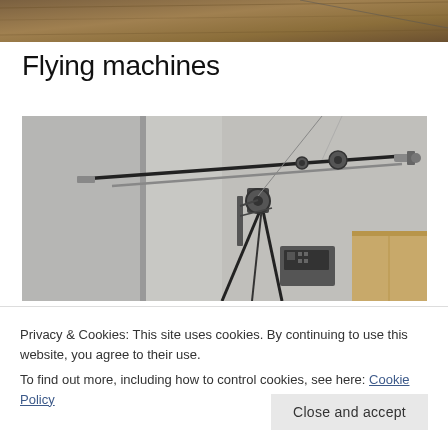[Figure (photo): Top portion of a photo showing a wooden/brown surface, partially cropped at the top of the page.]
Flying machines
[Figure (photo): Photo of a mechanical flying machine model or robotic arm apparatus on a tripod/stand, set against a white wall background, with some equipment and boxes visible in the background.]
Privacy & Cookies: This site uses cookies. By continuing to use this website, you agree to their use.
To find out more, including how to control cookies, see here: Cookie Policy
Close and accept